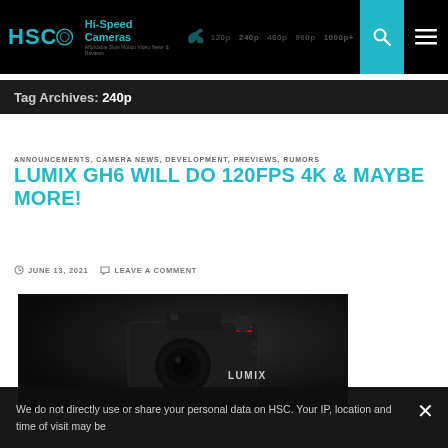HSC Hi-Speed Cameras | 120p 240p 480p 960p 1000p+
Tag Archives: 240p
ANNOUNCEMENTS, CAMERA NEWS, DEVELOPMENT, PREVIEWS, RUMORS
LUMIX GH6 WILL DO 120FPS 4K & MAYBE MORE!
JUNE 13, 2021   LEAVE A COMMENT
[Figure (photo): Panasonic Lumix GH6 camera on dark background with LUMIX branding visible]
We do not directly use or share your personal data on HSC. Your IP, location and time of visit may be